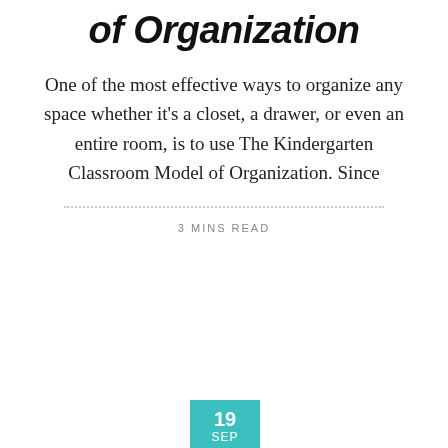of Organization
One of the most effective ways to organize any space whether it's a closet, a drawer, or even an entire room, is to use The Kindergarten Classroom Model of Organization. Since
3 MINS READ
19 SEP